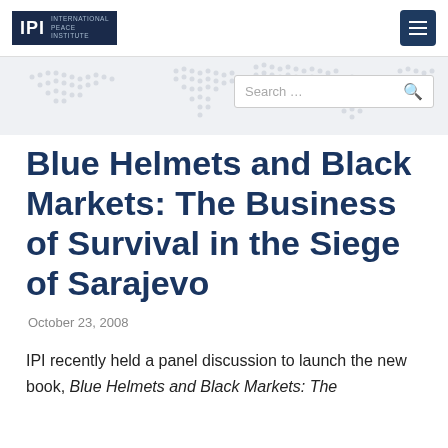IPI | International Peace Institute
[Figure (screenshot): Search bar with placeholder text 'Search ...' and a magnifying glass icon on a light grey world map background]
Blue Helmets and Black Markets: The Business of Survival in the Siege of Sarajevo
October 23, 2008
IPI recently held a panel discussion to launch the new book, Blue Helmets and Black Markets: The